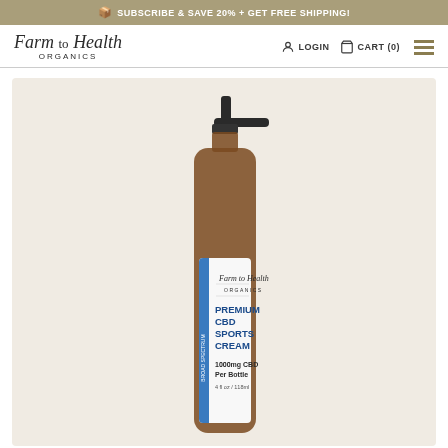📦 SUBSCRIBE & SAVE 20% + GET FREE SHIPPING!
Farm to Health ORGANICS
LOGIN   CART (0)
[Figure (photo): A pump bottle of Farm to Health Organics Premium CBD Sports Cream, 1000mg CBD Per Bottle, 4 fl oz / 118ml, with a white label featuring blue accent stripe and blue text on an amber/brown bottle with black pump dispenser.]